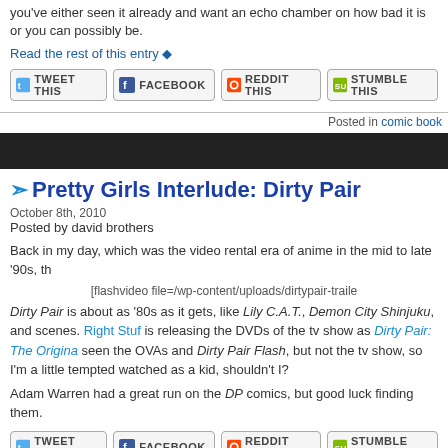you've either seen it already and want an echo chamber on how bad it is or you can possibly be.
Read the rest of this entry
[Figure (screenshot): Social share buttons: Tweet This, Facebook, Reddit This, Stumble This]
Posted in comic book
[Figure (screenshot): Dark navigation bar]
Pretty Girls Interlude: Dirty Pair
October 8th, 2010
Posted by david brothers
Back in my day, which was the video rental era of anime in the mid to late '90s, th
[flashvideo file=/wp-content/uploads/dirtypair-traile
Dirty Pair is about as '80s as it gets, like Lily C.A.T., Demon City Shinjuku, and scenes. Right Stuf is releasing the DVDs of the tv show as Dirty Pair: The Origina seen the OVAs and Dirty Pair Flash, but not the tv show, so I'm a little tempted watched as a kid, shouldn't I?
Adam Warren had a great run on the DP comics, but good luck finding them.
[Figure (screenshot): Social share buttons: Tweet This, Facebook, Reddit This, Stumble This]
Posted in 4thletter exclusives, P